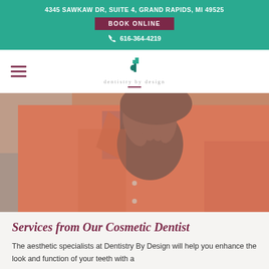4345 SAWKAW DR, SUITE 4, GRAND RAPIDS, MI 49525
BOOK ONLINE
616-364-4219
[Figure (logo): Dentistry by Design logo with teal angular 'd' icon and text 'dentistry by design']
[Figure (photo): Man in orange/salmon button-up shirt with hand raised near face, covering mouth]
Services from Our Cosmetic Dentist
The aesthetic specialists at Dentistry By Design will help you enhance the look and function of your teeth with a